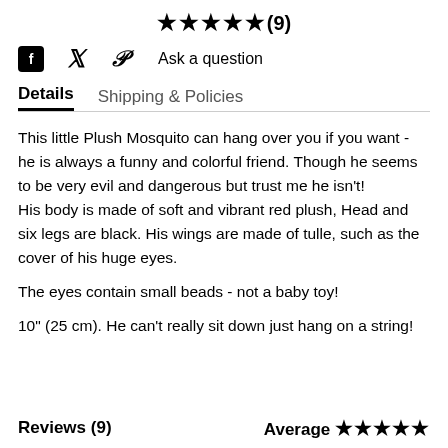★★★★★(9)
f  𝕏  𝒫  Ask a question
Details   Shipping & Policies
This little Plush Mosquito can hang over you if you want - he is always a funny and colorful friend. Though he seems to be very evil and dangerous but trust me he isn't!
His body is made of soft and vibrant red plush, Head and six legs are black. His wings are made of tulle, such as the cover of his huge eyes.
The eyes contain small beads - not a baby toy!
10" (25 cm). He can't really sit down just hang on a string!
Reviews (9)   Average ★★★★★